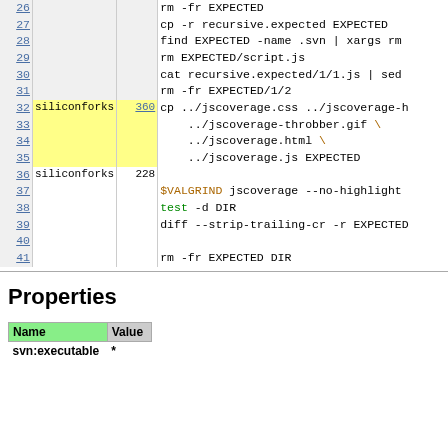| Line | Author | Rev | Code |
| --- | --- | --- | --- |
| 26 |  |  | rm -fr EXPECTED |
| 27 |  |  | cp -r recursive.expected EXPECTED |
| 28 |  |  | find EXPECTED -name .svn | xargs rm |
| 29 |  |  | rm EXPECTED/script.js |
| 30 |  |  | cat recursive.expected/1/1.js | sed |
| 31 |  |  | rm -fr EXPECTED/1/2 |
| 32 | siliconforks | 360 | cp ../jscoverage.css ../jscoverage-h |
| 33 |  |  |   ../jscoverage-throbber.gif \ |
| 34 |  |  |   ../jscoverage.html \ |
| 35 |  |  |   ../jscoverage.js EXPECTED |
| 36 | siliconforks | 228 |  |
| 37 |  |  | $VALGRIND jscoverage --no-highlight |
| 38 |  |  | test -d DIR |
| 39 |  |  | diff --strip-trailing-cr -r EXPECTED |
| 40 |  |  |  |
| 41 |  |  | rm -fr EXPECTED DIR |
Properties
| Name | Value |
| --- | --- |
| svn:executable | * |